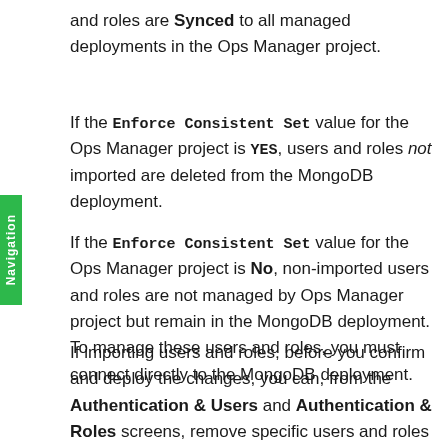and roles are Synced to all managed deployments in the Ops Manager project.
If the Enforce Consistent Set value for the Ops Manager project is YES, users and roles not imported are deleted from the MongoDB deployment.
If the Enforce Consistent Set value for the Ops Manager project is No, non-imported users and roles are not managed by Ops Manager project but remain in the MongoDB deployment. To manage these users and roles, you must connect directly to the MongoDB deployment.
If importing users and roles, before you confirm and deploy the changes, you can, from the Authentication & Users and Authentication & Roles screens, remove specific users and roles from being imported by unmanaging these users. For details on unmanaging MongoDB users, see Manage Users on a MongoDB U...